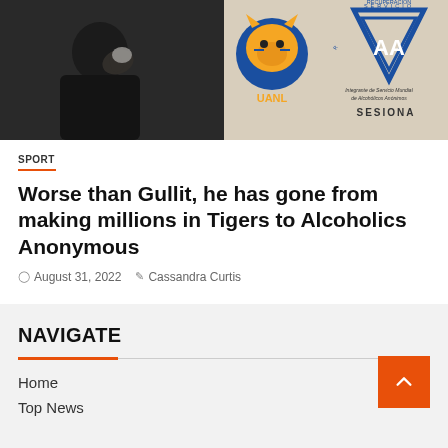[Figure (photo): Hero image split: left half shows a dark-skinned person with hand near face (emotional/crying), right half shows UANL tiger logo (blue/gold) and AA (Alcoholics Anonymous) blue triangular logo with 'RECUPERACION' and 'SESIONA' text]
SPORT
Worse than Gullit, he has gone from making millions in Tigers to Alcoholics Anonymous
August 31, 2022   Cassandra Curtis
NAVIGATE
Home
Top News